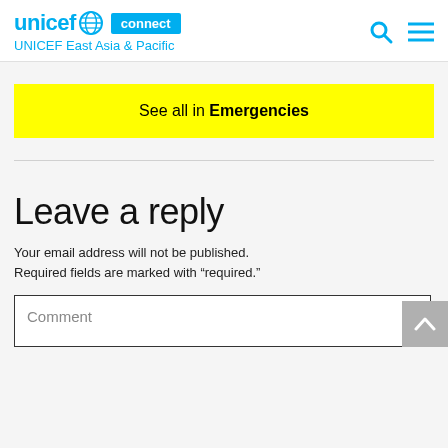unicef connect | UNICEF East Asia & Pacific
See all in Emergencies
Leave a reply
Your email address will not be published. Required fields are marked with “required.”
Comment